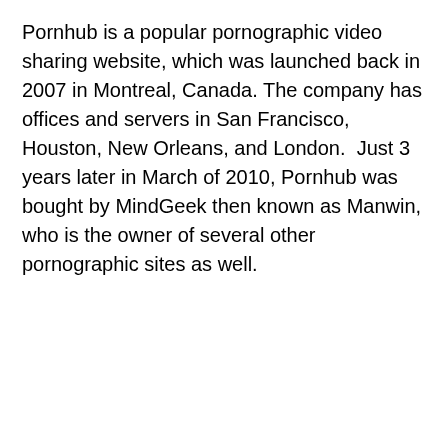Pornhub is a popular pornographic video sharing website, which was launched back in 2007 in Montreal, Canada. The company has offices and servers in San Francisco, Houston, New Orleans, and London.  Just 3 years later in March of 2010, Pornhub was bought by MindGeek then known as Manwin, who is the owner of several other pornographic sites as well.